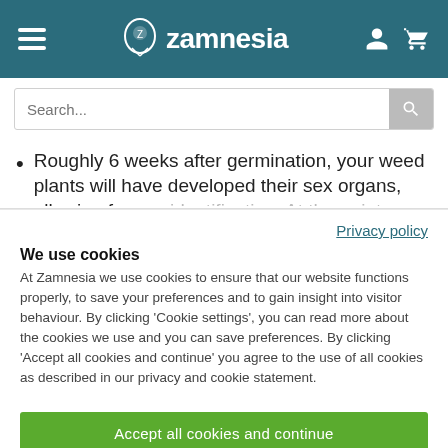Zamnesia
Roughly 6 weeks after germination, your weed plants will have developed their sex organs, allowing for sex identification. At this point, any the...
Privacy policy
We use cookies
At Zamnesia we use cookies to ensure that our website functions properly, to save your preferences and to gain insight into visitor behaviour. By clicking ‘Cookie settings’, you can read more about the cookies we use and you can save preferences. By clicking ‘Accept all cookies and continue’ you agree to the use of all cookies as described in our privacy and cookie statement.
Accept all cookies and continue
Cookie settings